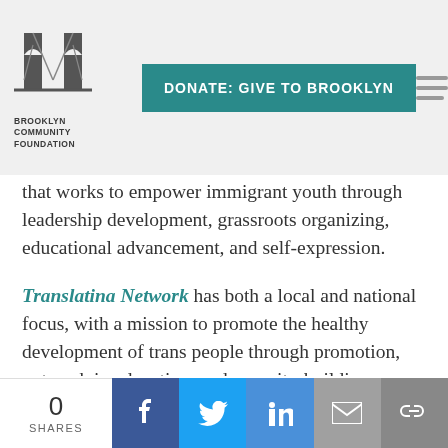[Figure (logo): Brooklyn Community Foundation logo with Brooklyn Bridge icon and text 'BROOKLYN COMMUNITY FOUNDATION']
[Figure (screenshot): Teal 'DONATE: GIVE TO BROOKLYN' button and hamburger menu icon in header]
that works to empower immigrant youth through leadership development, grassroots organizing, educational advancement, and self-expression.
Translatina Network has both a local and national focus, with a mission to promote the healthy development of trans people through promotion, outreach in education, and capacity-building.
UPROSE is an intergenerational, multi-racial, nationally-recognized, women of color led, grassroots organization that promotes sustainability
[Figure (infographic): Social share bar showing 0 SHARES, Facebook, Twitter, LinkedIn, Email, and Link share buttons]